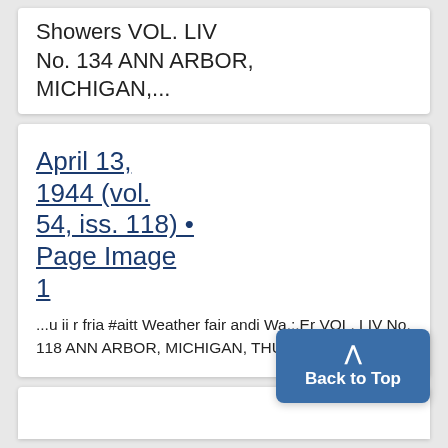Showers VOL. LIV No. 134 ANN ARBOR, MICHIGAN,...
April 13, 1944 (vol. 54, iss. 118) • Page Image 1
...u ii r fria #aitt Weather fair andi Wa.;.Er VOL. LIV No. 118 ANN ARBOR, MICHIGAN, THURSDAY,...